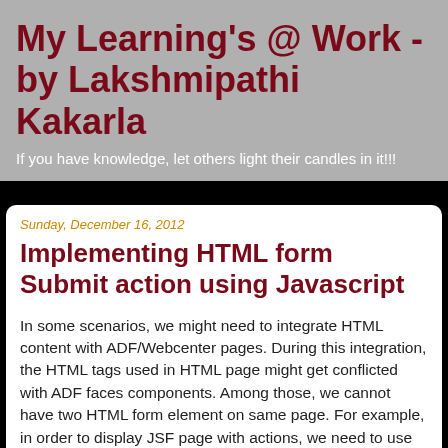My Learning's @ Work - by Lakshmipathi Kakarla
If you have knowledge, let others light their candles in it!!!
Sunday, December 16, 2012
Implementing HTML form Submit action using Javascript
In some scenarios, we might need to integrate HTML content with ADF/Webcenter pages. During this integration, the HTML tags used in HTML page might get conflicted with ADF faces components. Among those, we cannot have two HTML form element on same page. For example, in order to display JSF page with actions, we need to use af:form component on JSF page, which generates HTML form element in run time. In this case, if we are trying to embed a